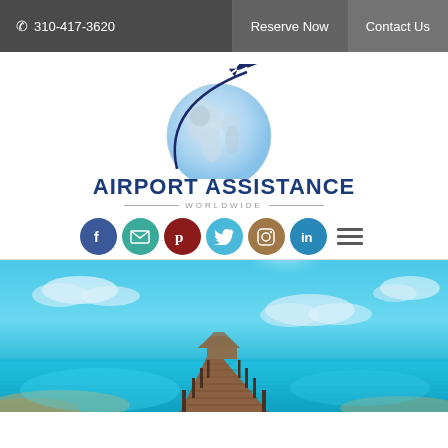📞 310-417-3620   Reserve Now   Contact Us
[Figure (logo): Airport Assistance Worldwide logo: globe with airplane arc and social media icons (Facebook, Email, Pinterest, Twitter, Instagram, LinkedIn)]
[Figure (photo): Tropical beach scene with a wooden pier extending over turquoise water under a bright blue sky with clouds]